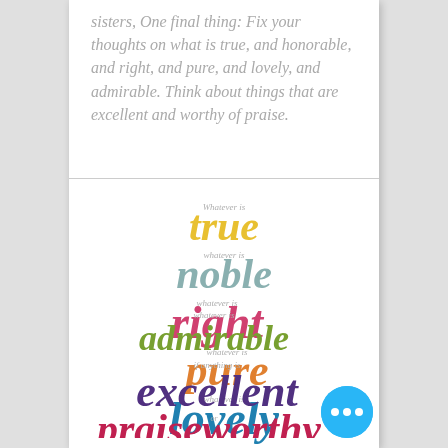sisters, One final thing: Fix your thoughts on what is true, and honorable, and right, and pure, and lovely, and admirable. Think about things that are excellent and worthy of praise.
[Figure (illustration): Word art typography showing Philippians 4:8 qualities in colorful script fonts: 'Whatever is true', 'whatever is noble', 'whatever is right', 'whatever is pure', 'whatever is lovely', 'whatever is admirable', 'if anything is excellent', 'or praiseworthy' - each word in a different color (yellow, gray, pink/red, orange, blue/teal, green, dark purple, crimson)]